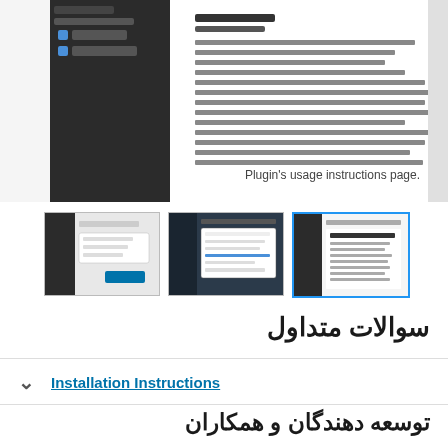[Figure (screenshot): Plugin usage instructions page screenshot showing a WordPress admin panel with parameters listed]
.Plugin's usage instructions page
[Figure (screenshot): Three thumbnail screenshots of the plugin interface]
سوالات متداول
Installation Instructions
توسعه دهندگان و همکاران
"Dig Bloginfo Shortcode" نرم افزار متن باز است. افراد زیر در این افزونه مشارکت کرده‌اند.